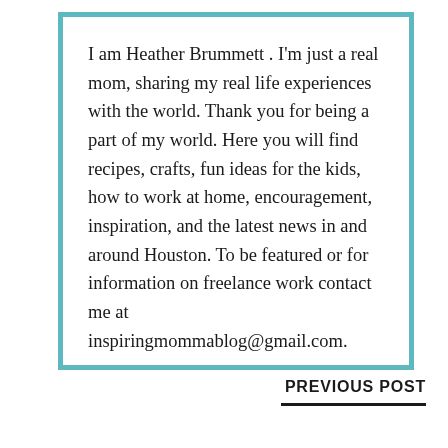I am Heather Brummett . I'm just a real mom, sharing my real life experiences with the world. Thank you for being a part of my world. Here you will find recipes, crafts, fun ideas for the kids, how to work at home, encouragement, inspiration, and the latest news in and around Houston. To be featured or for information on freelance work contact me at inspiringmommablog@gmail.com.
PREVIOUS POST